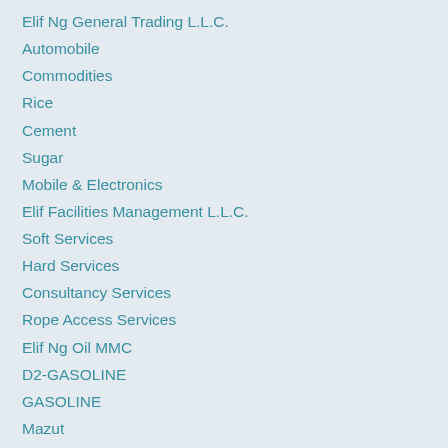Elif Ng General Trading L.L.C.
Automobile
Commodities
Rice
Cement
Sugar
Mobile & Electronics
Elif Facilities Management L.L.C.
Soft Services
Hard Services
Consultancy Services
Rope Access Services
Elif Ng Oil MMC
D2-GASOLINE
GASOLINE
Mazut
LPG
JP – A
JET FUEL – JP54
Crude Oil